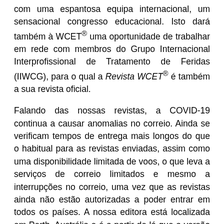com uma espantosa equipa internacional, um sensacional congresso educacional. Isto dará também à WCET® uma oportunidade de trabalhar em rede com membros do Grupo Internacional Interprofissional de Tratamento de Feridas (IIWCG), para o qual a Revista WCET® é também a sua revista oficial.
Falando das nossas revistas, a COVID-19 continua a causar anomalias no correio. Ainda se verificam tempos de entrega mais longos do que o habitual para as revistas enviadas, assim como uma disponibilidade limitada de voos, o que leva a serviços de correio limitados e mesmo a interrupções no correio, uma vez que as revistas ainda não estão autorizadas a poder entrar em todos os países. A nossa editora está localizada em Perth, Austrália e é a partir de lá que a versão inglesa do WCET® é enviada pelo correio. A minha cópia do número de março da revista, enviado pelo correio, só chegou aqui aos EUA a 14 de maio. Felizmente, a versão eletrónica é publicada no nosso website. Estas restrições COVID-19 para